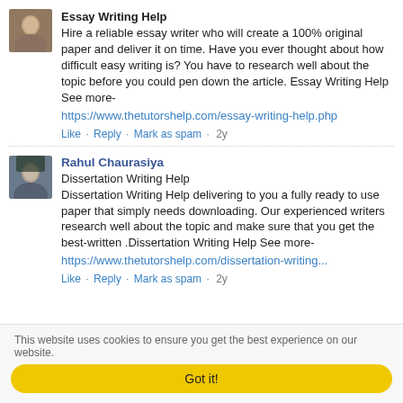[Figure (photo): Small avatar photo of a person, partially cropped at top]
Essay Writing Help
Hire a reliable essay writer who will create a 100% original paper and deliver it on time. Have you ever thought about how difficult easy writing is? You have to research well about the topic before you could pen down the article. Essay Writing Help See more-
https://www.thetutorshelp.com/essay-writing-help.php
Like · Reply · Mark as spam · 2y
[Figure (photo): Avatar photo of Rahul Chaurasiya]
Rahul Chaurasiya
Dissertation Writing Help
Dissertation Writing Help delivering to you a fully ready to use paper that simply needs downloading. Our experienced writers research well about the topic and make sure that you get the best-written .Dissertation Writing Help See more-
https://www.thetutorshelp.com/dissertation-writing...
Like · Reply · Mark as spam · 2y
This website uses cookies to ensure you get the best experience on our website.
Got it!